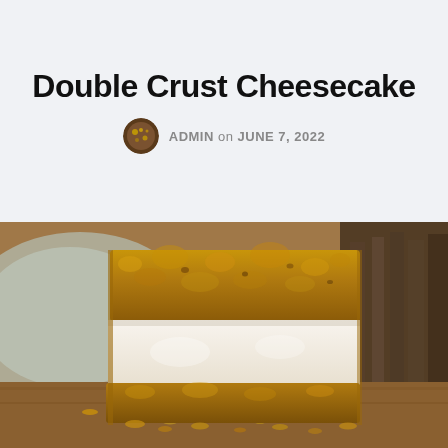Double Crust Cheesecake
ADMIN on JUNE 7, 2022
[Figure (photo): Close-up photo of a slice of double crust cheesecake showing thick golden graham cracker crust on top and bottom with a white creamy filling, placed on a wooden surface with crumbs around it]